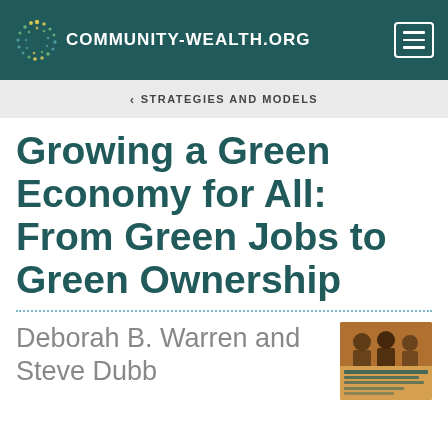COMMUNITY-WEALTH.ORG
< STRATEGIES AND MODELS
Growing a Green Economy for All: From Green Jobs to Green Ownership
Deborah B. Warren and Steve Dubb
[Figure (photo): Book cover for 'Growing a Green Economy for All' showing people and text]